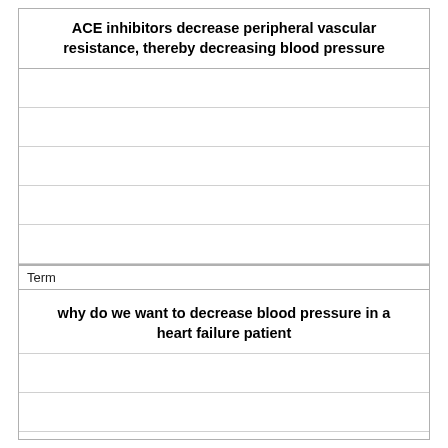ACE inhibitors decrease peripheral vascular resistance, thereby decreasing blood pressure
Term
why do we want to decrease blood pressure in a heart failure patient